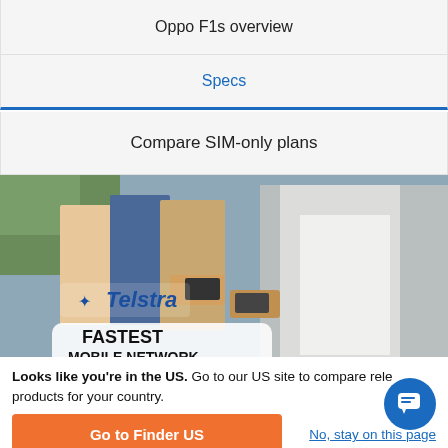Oppo F1s overview
Specs
Compare SIM-only plans
[Figure (photo): Telstra advertisement banner showing people using mobile phones with text 'FASTEST MOBILE NETWORK']
Looks like you're in the US. Go to our US site to compare rele products for your country.
Go to Finder US
No, stay on this page